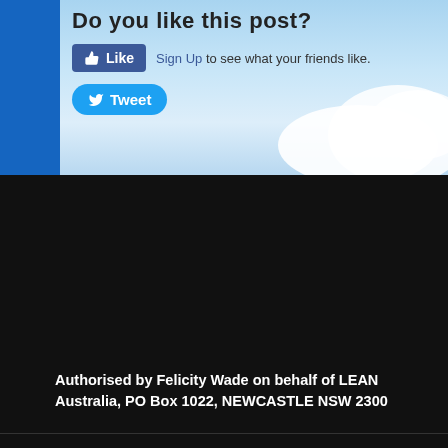Do you like this post?
[Figure (screenshot): Facebook Like button with 'Sign Up to see what your friends like.' text]
[Figure (screenshot): Twitter Tweet button]
Authorised by Felicity Wade on behalf of LEAN Australia, PO Box 1022, NEWCASTLE NSW 2300
get updates
[Figure (screenshot): Email address input field with JOIN button]
[Figure (screenshot): Facebook Like button with '5.1K people like this. Sign Up to see what your friends like.']